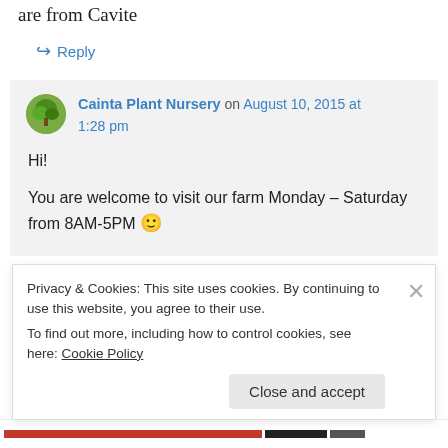are from Cavite
↪ Reply
Cainta Plant Nursery on August 10, 2015 at 1:28 pm
Hi!
You are welcome to visit our farm Monday – Saturday from 8AM-5PM 🙂
Privacy & Cookies: This site uses cookies. By continuing to use this website, you agree to their use.
To find out more, including how to control cookies, see here: Cookie Policy
Close and accept